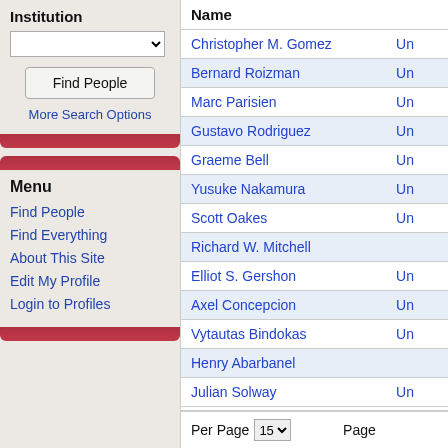Institution
Find People
More Search Options
Menu
Find People
Find Everything
About This Site
Edit My Profile
Login to Profiles
| Name |  |
| --- | --- |
| Christopher M. Gomez | Un |
| Bernard Roizman | Un |
| Marc Parisien | Un |
| Gustavo Rodriguez | Un |
| Graeme Bell | Un |
| Yusuke Nakamura | Un |
| Scott Oakes | Un |
| Richard W. Mitchell |  |
| Elliot S. Gershon | Un |
| Axel Concepcion | Un |
| Vytautas Bindokas | Un |
| Henry Abarbanel |  |
| Julian Solway | Un |
Per Page  15    Page